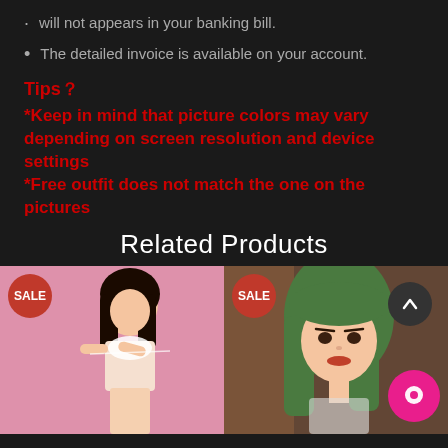will not appears in your banking bill.
The detailed invoice is available on your account.
Tips？
*Keep in mind that picture colors may vary depending on screen resolution and device settings
*Free outfit does not match the one on the pictures
Related Products
[Figure (photo): Left product card with SALE badge showing a figure on pink background]
[Figure (photo): Right product card with SALE badge showing a green-haired figure with scroll-up and chat buttons]